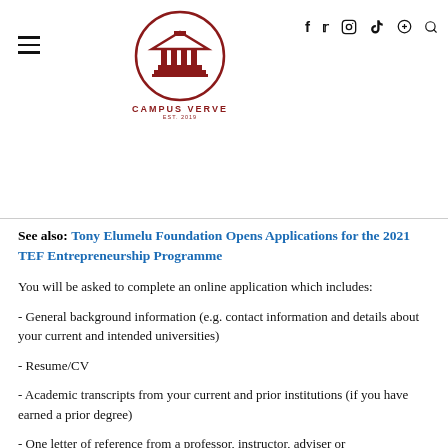Campus Verve logo with social media icons (Facebook, Twitter, Instagram, YouTube, Search) and hamburger menu
See also: Tony Elumelu Foundation Opens Applications for the 2021 TEF Entrepreneurship Programme
You will be asked to complete an online application which includes:
- General background information (e.g. contact information and details about your current and intended universities)
- Resume/CV
- Academic transcripts from your current and prior institutions (if you have earned a prior degree)
- One letter of reference from a professor, instructor, adviser or